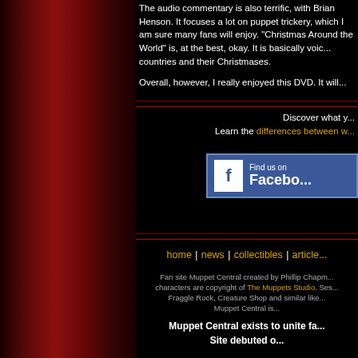[Figure (illustration): Red draped curtain on the left side of the page]
The audio commentary is also terrific, with Brian Henson. It focuses a lot on puppet trickery, which I am sure many fans will enjoy. "Christmas Around the World" is, at the best, okay. It is basically voiceovers about countries and their Christmases.
Overall, however, I really enjoyed this DVD. It will...
Discover what y...
Learn the differences between w...
[Figure (logo): Find us on Facebook badge/button]
home | news | collectibles | article...
Fan site Muppet Central created by Phillip Chapm... characters are copyright of The Muppets Studio. Ses... Fraggle Rock, Creature Shop and similar like... Muppet Central is...
Muppet Central exists to unite fa...
Site debuted o...